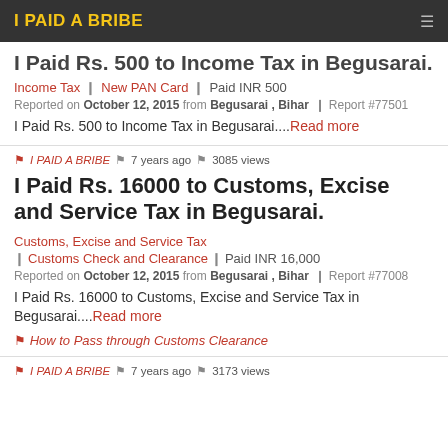I PAID A BRIBE
I Paid Rs. 500 to Income Tax in Begusarai.
Income Tax | New PAN Card | Paid INR 500
Reported on October 12, 2015 from Begusarai , Bihar | Report #77501
I Paid Rs. 500 to Income Tax in Begusarai....Read more
I PAID A BRIBE  7 years ago  3085 views
I Paid Rs. 16000 to Customs, Excise and Service Tax in Begusarai.
Customs, Excise and Service Tax | Customs Check and Clearance | Paid INR 16,000
Reported on October 12, 2015 from Begusarai , Bihar | Report #77008
I Paid Rs. 16000 to Customs, Excise and Service Tax in Begusarai....Read more
How to Pass through Customs Clearance
I PAID A BRIBE  7 years ago  3173 views